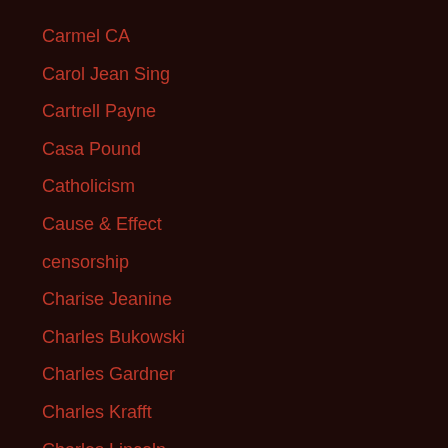Carmel CA
Carol Jean Sing
Cartrell Payne
Casa Pound
Catholicism
Cause & Effect
censorship
Charise Jeanine
Charles Bukowski
Charles Gardner
Charles Krafft
Charles Lincoln
Charles Manson
Charles Marohn
Charleston Church Shooting